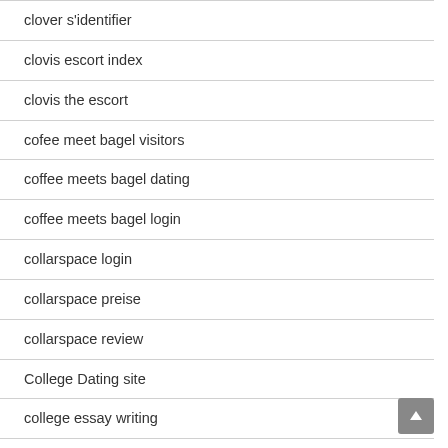clover s'identifier
clovis escort index
clovis the escort
cofee meet bagel visitors
coffee meets bagel dating
coffee meets bagel login
collarspace login
collarspace preise
collarspace review
College Dating site
college essay writing
college essay writing service